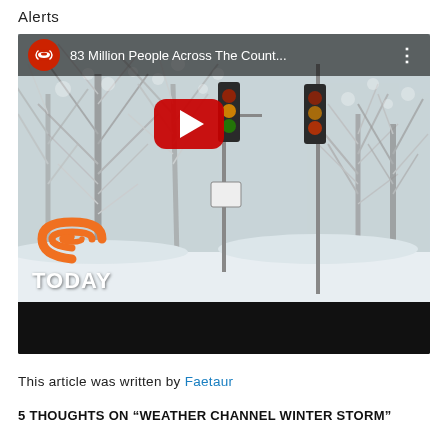Alerts
[Figure (screenshot): YouTube video thumbnail showing a snowy winter street scene with snow-covered trees and traffic lights. The TODAY show logo (orange rainbow arc) appears in the bottom left. The video title reads '83 Million People Across The Count...' The YouTube play button is centered on the thumbnail. A dark progress/control bar is at the bottom of the player.]
This article was written by Faetaur
5 THOUGHTS ON “WEATHER CHANNEL WINTER STORM”